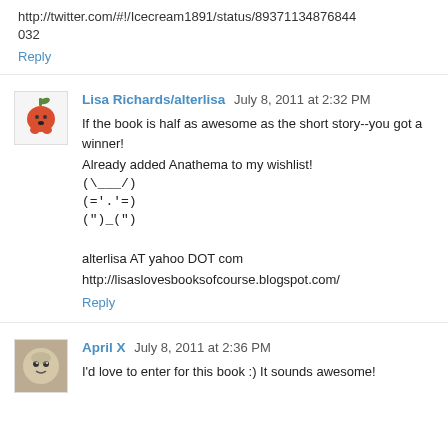http://twitter.com/#!/Icecream1891/status/89371134876844032
Reply
Lisa Richards/alterlisa July 8, 2011 at 2:32 PM
If the book is half as awesome as the short story--you got a winner!
Already added Anathema to my wishlist!
(\___/)
(='.'=)
(")_(")

alterlisa AT yahoo DOT com
http://lisaslovesbooksofcourse.blogspot.com/
Reply
April X July 8, 2011 at 2:36 PM
I'd love to enter for this book :) It sounds awesome!